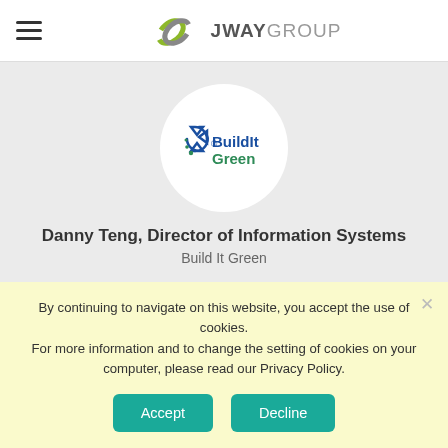[Figure (logo): JWay Group logo with circular swoosh icon and text JWAYGROUP]
[Figure (logo): BuildIt Green logo inside a white circle on grey background]
Danny Teng, Director of Information Systems
Build It Green
By continuing to navigate on this website, you accept the use of cookies.
For more information and to change the setting of cookies on your computer, please read our Privacy Policy.
Accept
Decline